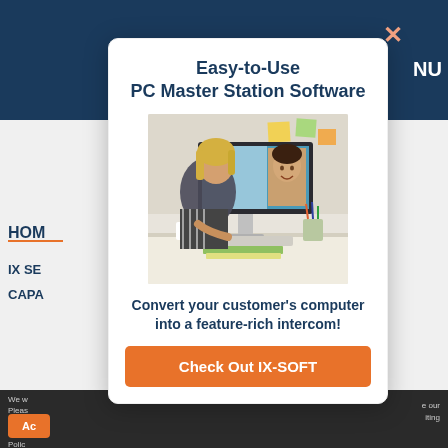[Figure (screenshot): Website background showing dark blue navigation bar at top, light gray content area with partial navigation labels HOME, IX SE..., CAPA... on left side, and dark footer at bottom with cookie consent text and Accept button. A modal popup overlays the center.]
Easy-to-Use PC Master Station Software
[Figure (photo): A woman with blonde hair sitting at a desk using a computer. The monitor displays a video call with a woman smiling. Office setting with colorful sticky notes on wall in background.]
Convert your customer's computer into a feature-rich intercom!
Check Out IX-SOFT